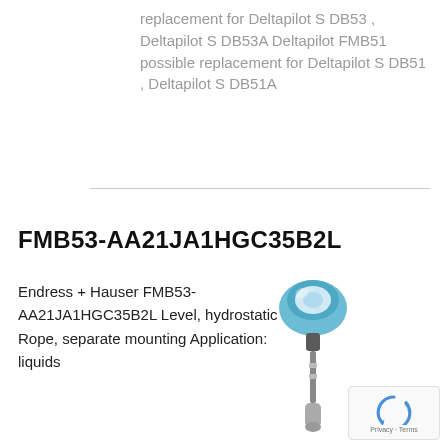replacement for Deltapilot S DB53 , Deltapilot S DB53A Deltapilot FMB51 possible replacement for Deltapilot S DB51 , Deltapilot S DB51A
FMB53-AA21JA1HGC35B2L
Endress + Hauser FMB53-AA21JA1HGC35B2L Level, hydrostatic Rope, separate mounting Application: liquids
[Figure (photo): Photo of Endress+Hauser FMB53 hydrostatic level sensor with blue transmitter head and stainless steel rope/probe]